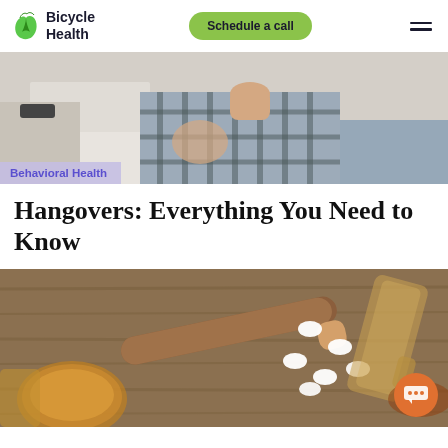Bicycle Health — Schedule a call
[Figure (photo): Person in plaid pajamas sitting on a bed, appearing unwell, shot from waist down]
Behavioral Health
Hangovers: Everything You Need to Know
[Figure (photo): Overhead shot of a wooden table with a cigar, pills/tablets, a glass of whiskey, and an overturned bottle of liquor]